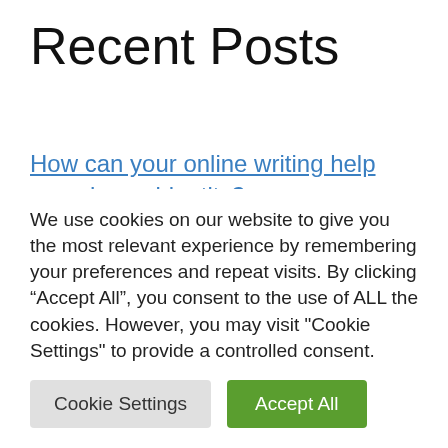Recent Posts
How can your online writing help reveal your identity?
Tips to ensure healthy sleep for students as the school year approaches
Trump: Why was the publication of a large part of the judicial document on the search
We use cookies on our website to give you the most relevant experience by remembering your preferences and repeat visits. By clicking “Accept All”, you consent to the use of ALL the cookies. However, you may visit "Cookie Settings" to provide a controlled consent.